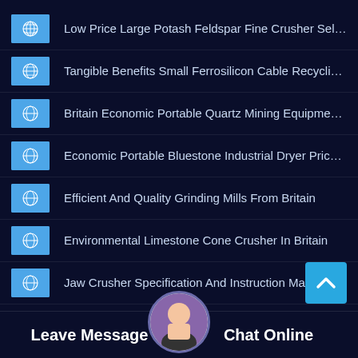Low Price Large Potash Feldspar Fine Crusher Sell At A Lo...
Tangible Benefits Small Ferrosilicon Cable Recycling Machi...
Britain Economic Portable Quartz Mining Equipment Sell
Economic Portable Bluestone Industrial Dryer Price In Britain
Efficient And Quality Grinding Mills From Britain
Environmental Limestone Cone Crusher In Britain
Jaw Crusher Specification And Instruction Manuals
Crusher Gold Mining Equipment From China
Used Small Jaw Crusher Price Australia Wed
Machine Grinding Double Medium Duty Brazil
Impact Crusher Price In Kenya
Leave Message
Chat Online